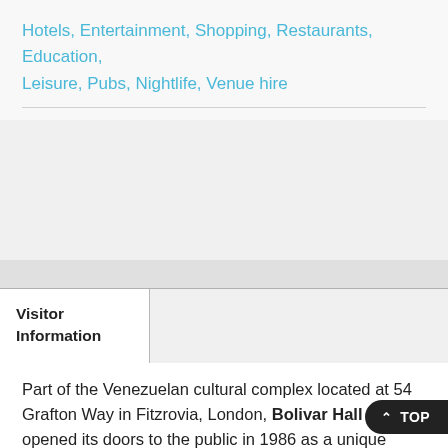Hotels, Entertainment, Shopping, Restaurants, Education, Leisure, Pubs, Nightlife, Venue hire
Visitor Information
Part of the Venezuelan cultural complex located at 54 Grafton Way in Fitzrovia, London, Bolivar Hall first opened its doors to the public in 1986 as a unique multi-media cultural centre, offering a programme of art exhibitions and music, film, theatre as well as literary and